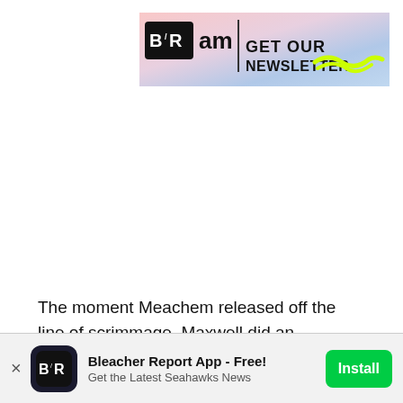[Figure (logo): Bleacher Report AM newsletter banner with B/R logo, 'am' text, vertical divider, and 'GET OUR NEWSLETTER' text on a pastel gradient background]
The moment Meachem released off the line of scrimmage, Maxwell did an impeccable job of reading his route, just like on the first play. He correctly played the outside route
[Figure (logo): Bleacher Report app install banner with B/R icon logo, 'Bleacher Report App - Free!' title, 'Get the Latest Seahawks News' subtitle, and green 'Install' button]